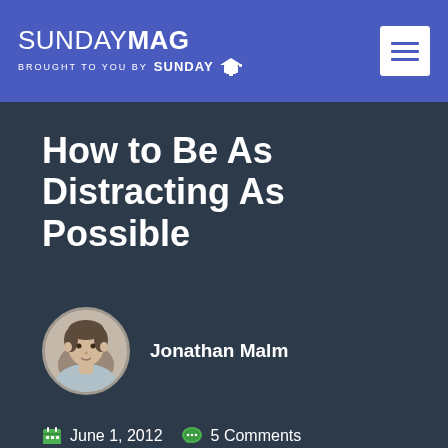SUNDAYMAG – Brought to you by SUNDAY U
How to Be As Distracting As Possible
Jonathan Malm
June 1, 2012   5 Comments   Creative